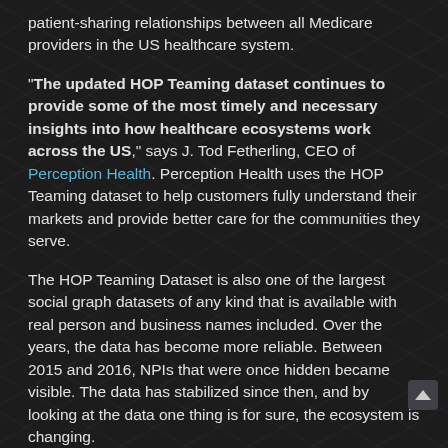patient-sharing relationships between all Medicare providers in the US healthcare system.
"The updated HOP Teaming dataset continues to provide some of the most timely and necessary insights into how healthcare ecosystems work across the US," says J. Tod Fetherling, CEO of Perception Health. Perception Health uses the HOP Teaming dataset to help customers fully understand their markets and provide better care for the communities they serve.
The HOP Teaming Dataset is also one of the largest social graph datasets of any kind that is available with real person and business names included. Over the years, the data has become more reliable. Between 2015 and 2016, NPIs that were once hidden became visible. The data has stabilized since then, and by looking at the data one thing is for sure, the ecosystem is changing.
This is the fifth year CareSet has released the dataset. The commercial version is available for a nominal fee, and previous years are available at no cost.